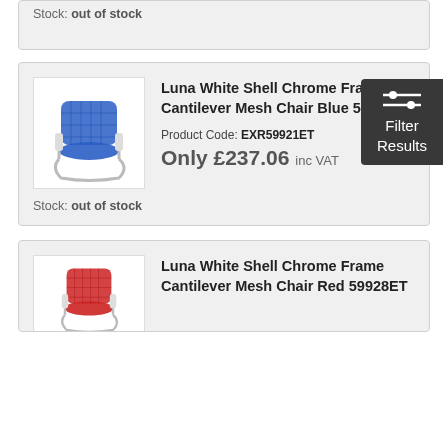Stock: out of stock
[Figure (photo): Blue cantilever mesh office chair with chrome frame and white shell]
Luna White Shell Chrome Frame Cantilever Mesh Chair Blue 59921ET
Product Code: EXR59921ET
Only £237.06 inc VAT
Stock: out of stock
[Figure (photo): Red cantilever mesh office chair with chrome frame and white shell]
Luna White Shell Chrome Frame Cantilever Mesh Chair Red 59928ET